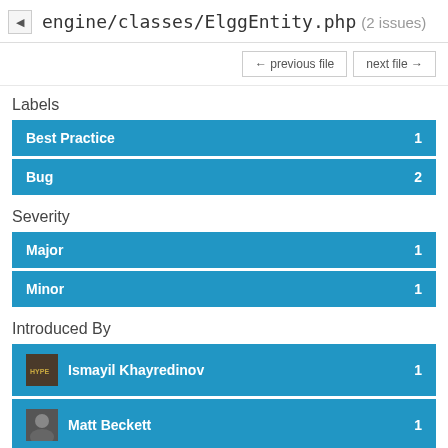engine/classes/ElggEntity.php (2 issues)
← previous file   next file →
Labels
Best Practice  1
Bug  2
Severity
Major  1
Minor  1
Introduced By
Ismayil Khayredinov  1
Matt Beckett  1